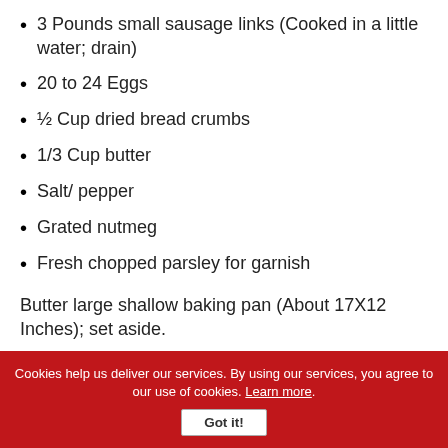3 Pounds small sausage links (Cooked in a little water; drain)
20 to 24 Eggs
½ Cup dried bread crumbs
1/3 Cup butter
Salt/ pepper
Grated nutmeg
Fresh chopped parsley for garnish
Butter large shallow baking pan (About 17X12 Inches); set aside.
Cookies help us deliver our services. By using our services, you agree to our use of cookies. Learn more. Got it!